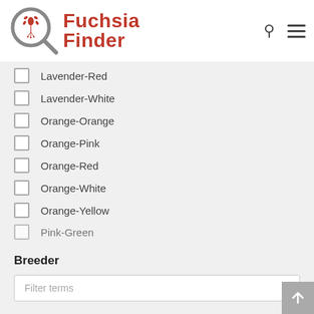[Figure (logo): Fuchsia Finder logo with magnifying glass icon and red text]
Lavender-Red
Lavender-White
Orange-Orange
Orange-Pink
Orange-Red
Orange-White
Orange-Yellow
Pink-Green
Breeder
Filter terms
None
Aay C.
Abbott Dave